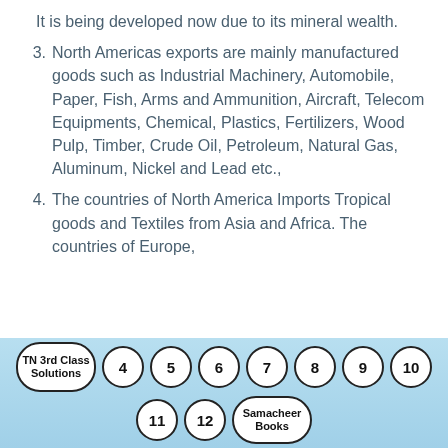It is being developed now due to its mineral wealth.
3. North Americas exports are mainly manufactured goods such as Industrial Machinery, Automobile, Paper, Fish, Arms and Ammunition, Aircraft, Telecom Equipments, Chemical, Plastics, Fertilizers, Wood Pulp, Timber, Crude Oil, Petroleum, Natural Gas, Aluminum, Nickel and Lead etc.,
4. The countries of North America Imports Tropical goods and Textiles from Asia and Africa. The countries of Europe,
TN 3rd Class Solutions  4  5  6  7  8  9  10  11  12  Samacheer Books